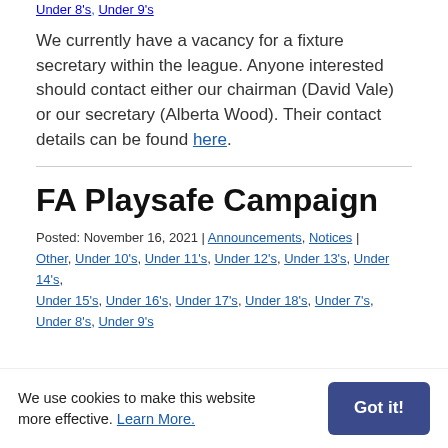Under 8's, Under 9's
We currently have a vacancy for a fixture secretary within the league. Anyone interested should contact either our chairman (David Vale) or our secretary (Alberta Wood). Their contact details can be found here.
FA Playsafe Campaign
Posted: November 16, 2021 | Announcements, Notices | Other, Under 10's, Under 11's, Under 12's, Under 13's, Under 14's, Under 15's, Under 16's, Under 17's, Under 18's, Under 7's, Under 8's, Under 9's
We use cookies to make this website more effective. Learn More.